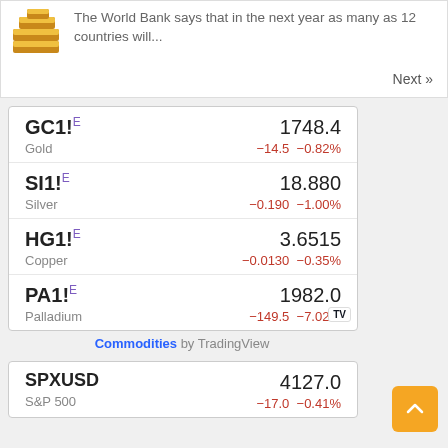The World Bank says that in the next year as many as 12 countries will...
Next »
| Symbol | Name | Price | Change | Change% |
| --- | --- | --- | --- | --- |
| GC1!E | Gold | 1748.4 | −14.5 | −0.82% |
| SI1!E | Silver | 18.880 | −0.190 | −1.00% |
| HG1!E | Copper | 3.6515 | −0.0130 | −0.35% |
| PA1!E | Palladium | 1982.0 | −149.5 | −7.02% |
Commodities by TradingView
| Symbol | Name | Price | Change | Change% |
| --- | --- | --- | --- | --- |
| SPXUSD | S&P 500 | 4127.0 | −17.0 | −0.41% |